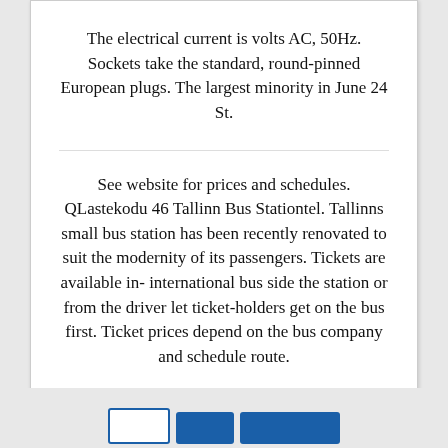The electrical current is volts AC, 50Hz. Sockets take the standard, round-pinned European plugs. The largest minority in June 24 St.
See website for prices and schedules. QLastekodu 46 Tallinn Bus Stationtel. Tallinns small bus station has been recently renovated to suit the modernity of its passengers. Tickets are available in- international bus side the station or from the driver let ticket-holders get on the bus first. Ticket prices depend on the bus company and schedule route.